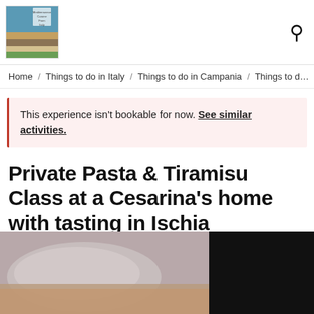Mediterranean Cuisine From Italy [logo] [search icon]
Home / Things to do in Italy / Things to do in Campania / Things to do…
This experience isn't bookable for now. See similar activities.
Private Pasta & Tiramisu Class at a Cesarina's home with tasting in Ischia
Ischia, Italy
[Figure (photo): Photo of pasta dough being prepared on a wooden surface, with a dark/black panel on the right side]